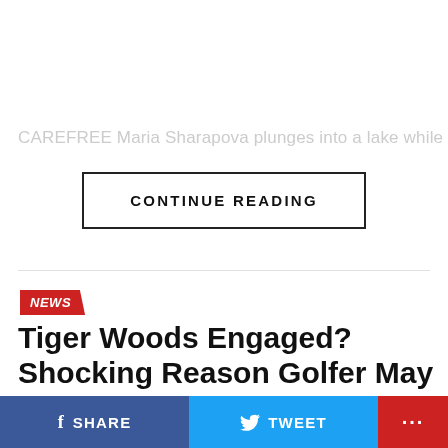CAREFREE Maria Sharapova plunges into a lake while on
CONTINUE READING
NEWS
Tiger Woods Engaged? Shocking Reason Golfer May Have Proposed to GF Erica Herman
SHARE   TWEET   ...